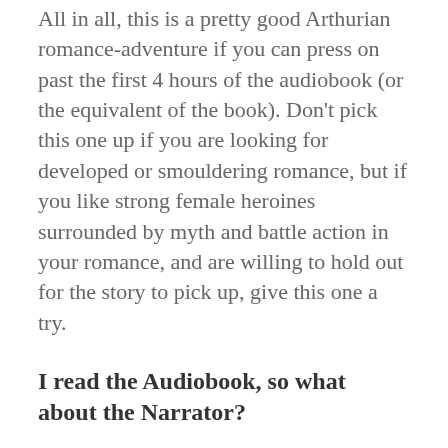All in all, this is a pretty good Arthurian romance-adventure if you can press on past the first 4 hours of the audiobook (or the equivalent of the book). Don't pick this one up if you are looking for developed or smouldering romance, but if you like strong female heroines surrounded by myth and battle action in your romance, and are willing to hold out for the story to pick up, give this one a try.
I read the Audiobook, so what about the Narrator?
Although there are some strange production issues in this audio (with the voice getting louder or shifting occasionally, especially in the first half), Dorothy Dickson is an impressive narrator